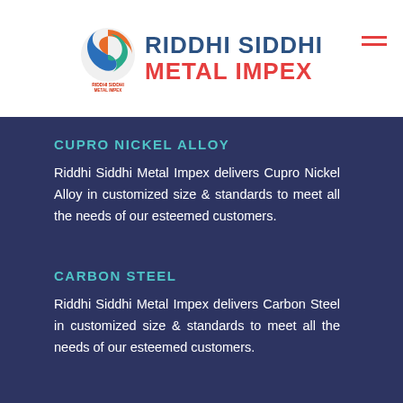RIDDHI SIDDHI METAL IMPEX
CUPRO NICKEL ALLOY
Riddhi Siddhi Metal Impex delivers Cupro Nickel Alloy in customized size & standards to meet all the needs of our esteemed customers.
CARBON STEEL
Riddhi Siddhi Metal Impex delivers Carbon Steel in customized size & standards to meet all the needs of our esteemed customers.